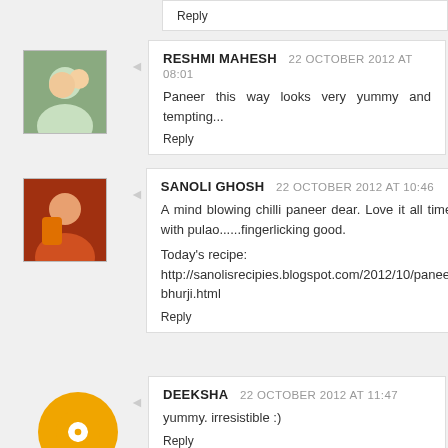Reply
RESHMI MAHESH  22 OCTOBER 2012 AT 08:01
Paneer this way looks very yummy and tempting...
Reply
SANOLI GHOSH  22 OCTOBER 2012 AT 10:46
A mind blowing chilli paneer dear. Love it all times with pulao......fingerlicking good.

Today's recipe:
http://sanolisrecipies.blogspot.com/2012/10/paneer-bhurji.html
Reply
DEEKSHA  22 OCTOBER 2012 AT 11:47
yummy. irresistible :)
Reply